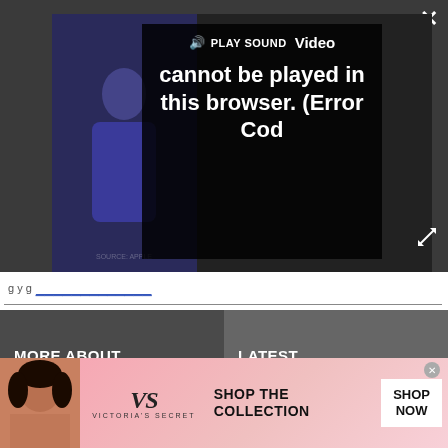[Figure (screenshot): Video player overlay showing error message 'Video cannot be played in this browser. (Error Cod' with PLAY SOUND label and speaker icon, set against dark background with presenter thumbnail]
g y g
[Figure (screenshot): Two-column navigation section with dark backgrounds: left column header MORE ABOUT... and right column header LATEST]
[Figure (photo): Photo of Tim Cook (Apple CEO) smiling, wearing glasses, in a corridor]
[Figure (illustration): Illustrated group portrait of diverse people on a beige/tan circular background with tropical plant decorations]
[Figure (photo): Victoria's Secret advertisement banner: model on left, VS logo, text SHOP THE COLLECTION, and SHOP NOW button]